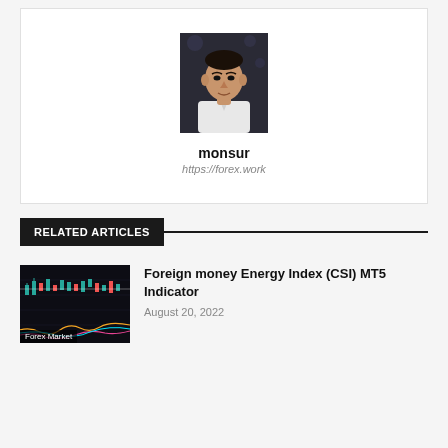[Figure (photo): Profile photo of a man in a white shirt against a dark background]
monsur
https://forex.work
RELATED ARTICLES
[Figure (screenshot): Thumbnail image of a forex trading chart with candlesticks and indicators on dark background, labeled 'Forex Market']
Foreign money Energy Index (CSI) MT5 Indicator
August 20, 2022